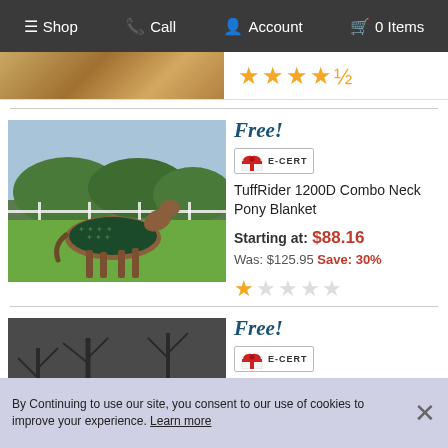Shop  Call  Account  0 Items
[Figure (photo): Partial view of a product image with golden/wood texture background, showing 4.5 star rating in yellow stars]
[Figure (photo): Horse wearing a dark green patterned blanket running in a green field with trees and white fence in background]
Free!
[Figure (other): E-CERT gift certificate badge with red ribbon bow]
TuffRider 1200D Combo Neck Pony Blanket
Starting at: $88.16
Was: $125.95 Save: 30%
[Figure (other): 1 out of 5 stars rating — one filled star, four empty stars]
[Figure (photo): Dark horse with teal/green blanket standing in front of bare trees background]
Free!
[Figure (other): E-CERT gift certificate badge with red ribbon bow]
TuffRider 1200D 200g Pony
By Continuing to use our site, you consent to our use of cookies to improve your experience. Learn more